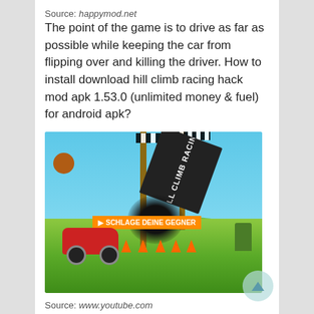Source: happymod.net
The point of the game is to drive as far as possible while keeping the car from flipping over and killing the driver. How to install download hill climb racing hack mod apk 1.53.0 (unlimited money & fuel) for android apk?
[Figure (screenshot): Screenshot of Hill Climb Racing game showing a red car on a hilly road with traffic cones, checkered flag poles, a banner reading 'HILL CLIMB RACING', and text 'SCHLAGE DEINE GEGNER']
Source: www.youtube.com
The original version on google play. 100% work today, we got the hill climb racing hack at your